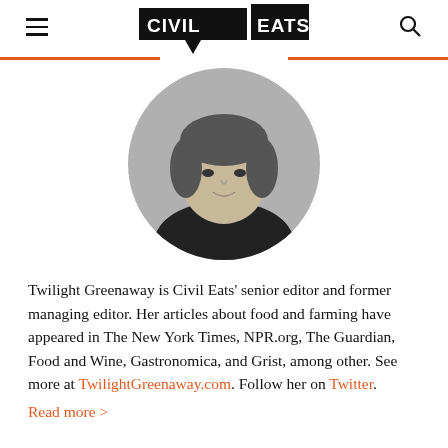Civil Eats
[Figure (photo): Black and white circular portrait photo of Twilight Greenaway]
Twilight Greenaway is Civil Eats' senior editor and former managing editor. Her articles about food and farming have appeared in The New York Times, NPR.org, The Guardian, Food and Wine, Gastronomica, and Grist, among other. See more at TwilightGreenaway.com. Follow her on Twitter. Read more >